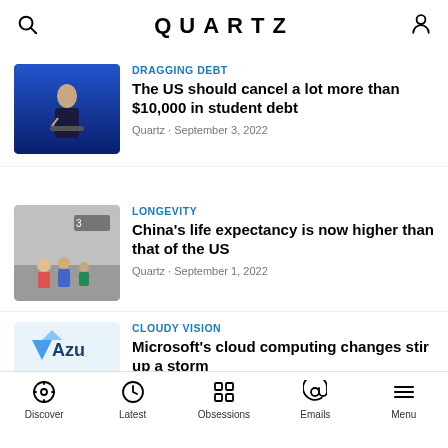QUARTZ
[Figure (photo): Photo of a man in dark suit gesturing at a podium against a blue curtain background]
DRAGGING DEBT
The US should cancel a lot more than $10,000 in student debt
Quartz · September 3, 2022
[Figure (photo): Photo of people in hazmat suits at an airport terminal]
LONGEVITY
China's life expectancy is now higher than that of the US
Quartz · September 1, 2022
[Figure (photo): Azure cloud computing logo with illustration of person at computer on a blue cloud]
CLOUDY VISION
Microsoft's cloud computing changes stir up a storm
Quartz · August 31, 2022
[Figure (photo): Partial thumbnail image for Bargain Hunting article]
BARGAIN HUNTING
Discover · Latest · Obsessions · Emails · Menu